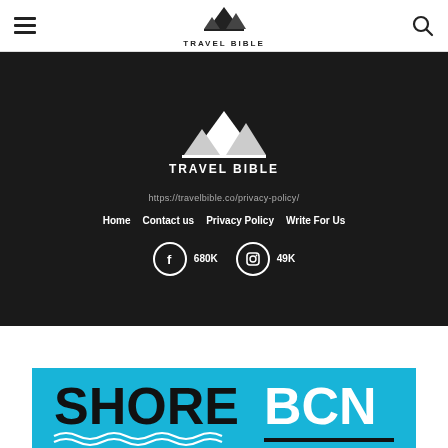Travel Bible navigation header with hamburger menu, logo, and search icon
[Figure (logo): Travel Bible logo - white mountain/peaks icon with TRAVEL BIBLE text below, on dark background]
https://travelbible.co/privacy-policy/
Home   Contact us   Privacy Policy   Write For Us
680K   49K
[Figure (logo): SHORE BCN logo on cyan/blue background with wave decoration]